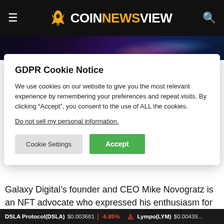COINNEWSVIEW
[Figure (screenshot): Hero banner image with colorful abstract wave patterns on dark background]
GDPR Cookie Notice
We use cookies on our website to give you the most relevant experience by remembering your preferences and repeat visits. By clicking “Accept”, you consent to the use of ALL the cookies.
Do not sell my personal information.
Cookie Settings   Accept
Galaxy Digital’s founder and CEO Mike Novogratz is an NFT advocate who expressed his enthusiasm for the industry in public speech. Mike has a strong belief that NFT will b
DSLA Protocol(DSLA)  $0.003681  | -6.85%   Lympo(LYM)  $0.00439...